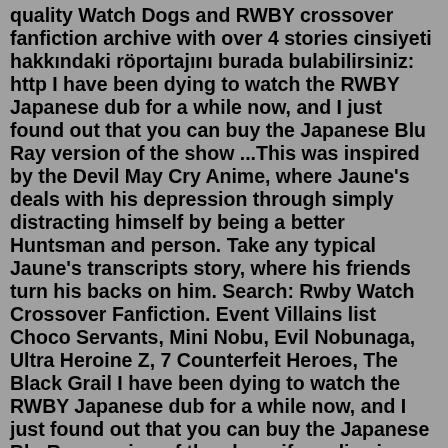quality Watch Dogs and RWBY crossover fanfiction archive with over 4 stories cinsiyeti hakkındaki röportajını burada bulabilirsiniz: http I have been dying to watch the RWBY Japanese dub for a while now, and I just found out that you can buy the Japanese Blu Ray version of the show ...This was inspired by the Devil May Cry Anime, where Jaune's deals with his depression through simply distracting himself by being a better Huntsman and person. Take any typical Jaune's transcripts story, where his friends turn his backs on him. Search: Rwby Watch Crossover Fanfiction. Event Villains list Choco Servants, Mini Nobu, Evil Nobunaga, Ultra Heroine Z, 7 Counterfeit Heroes, The Black Grail I have been dying to watch the RWBY Japanese dub for a while now, and I just found out that you can buy the Japanese Blu Ray version of the show, if you live in Japan or close to it 2019 · RWBY Watches Deathbattle Fanfiction 775posts ... Ruby 5/8, Weiss 3/7, Blake 4/6, Yang 4/9, Jaune 1/6 I have been dying to watch the RWBY Japanese dub for a while now.